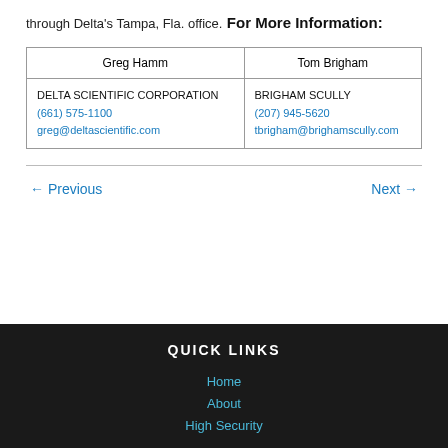through Delta's Tampa, Fla. office.
For More Information:
| Greg Hamm | Tom Brigham |
| --- | --- |
| DELTA SCIENTIFIC CORPORATION
(661) 575-1100
greg@deltascientific.com | BRIGHAM SCULLY
(207) 945-5620
tbrigham@brighamscully.com |
← Previous
Next →
QUICK LINKS
Home
About
High Security